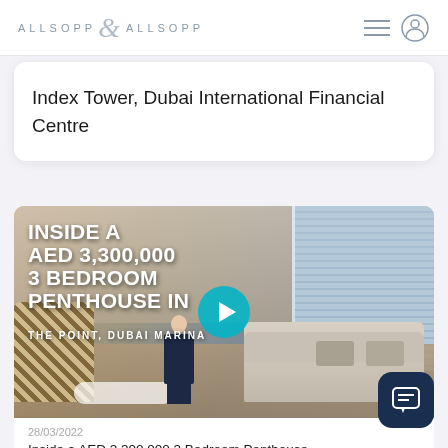ALLSOPP & ALLSOPP
Index Tower, Dubai International Financial Centre
[Figure (photo): Video thumbnail showing interior of a luxury penthouse with a man in a dark suit standing in a living room. Text overlay reads: INSIDE A AED 3,300,000 3 BEDROOM PENTHOUSE IN THE POINT, DUBAI MARINA with a play button in the center.]
28/03/2022
Inside a AED 3,300,000 3 Bedroom Penthouse in The Point, Dubai Marina